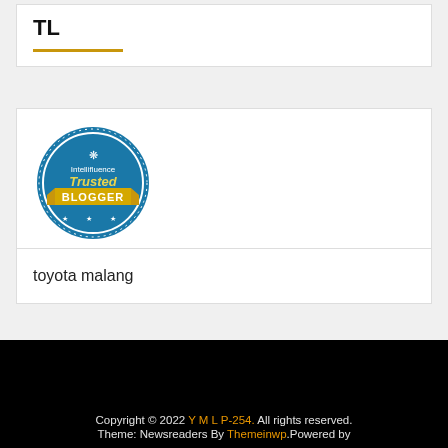TL
[Figure (logo): Intellifluence Trusted Blogger badge - circular blue badge with yellow ribbon banner reading BLOGGER]
toyota malang
Copyright © 2022 Y M L P-254. All rights reserved. Theme: Newsreaders By Themeinwp.Powered by